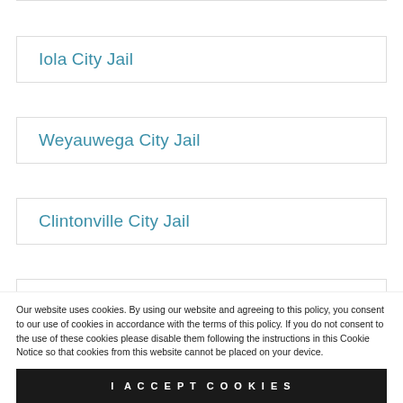Iola City Jail
Weyauwega City Jail
Clintonville City Jail
Wild Rose City Jail
Our website uses cookies. By using our website and agreeing to this policy, you consent to our use of cookies in accordance with the terms of this policy. If you do not consent to the use of these cookies please disable them following the instructions in this Cookie Notice so that cookies from this website cannot be placed on your device.
I ACCEPT COOKIES